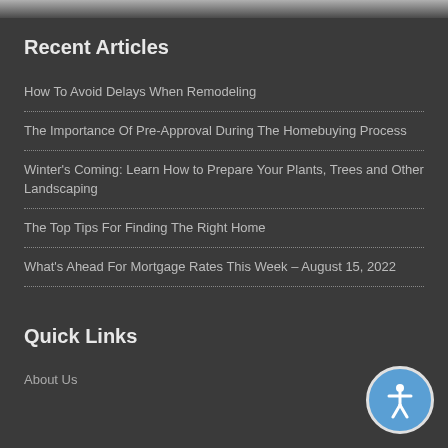Recent Articles
How To Avoid Delays When Remodeling
The Importance Of Pre-Approval During The Homebuying Process
Winter's Coming: Learn How to Prepare Your Plants, Trees and Other Landscaping
The Top Tips For Finding The Right Home
What's Ahead For Mortgage Rates This Week – August 15, 2022
Quick Links
About Us